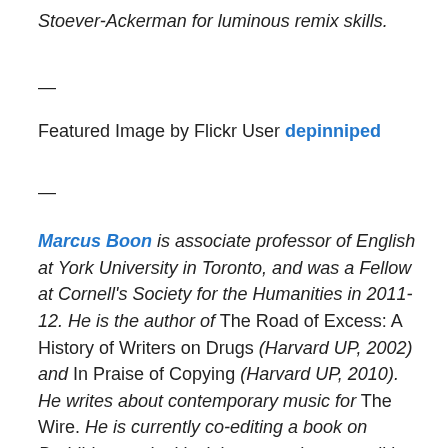Stoever-Ackerman for luminous remix skills.
—
Featured Image by Flickr User depinniped
—
Marcus Boon is associate professor of English at York University in Toronto, and was a Fellow at Cornell's Society for the Humanities in 2011-12. He is the author of The Road of Excess: A History of Writers on Drugs (Harvard UP, 2002) and In Praise of Copying (Harvard UP, 2010). He writes about contemporary music for The Wire. He is currently co-editing a book on Buddhism and critical theory, and a new edition of William S. Burroughs and Brion Gysin's The Third Mind. He is also working on a book entitled The